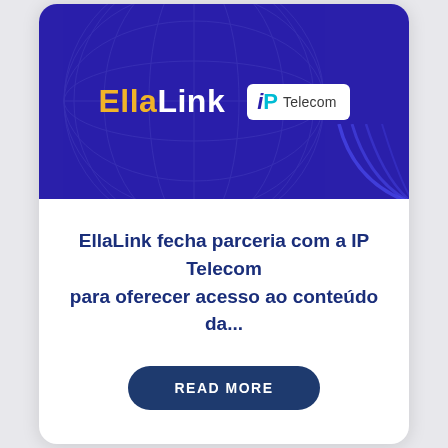[Figure (logo): Card banner with dark blue/purple background, globe wireframe graphic, EllaLink logo in yellow and white, and IP Telecom logo in white box]
EllaLink fecha parceria com a IP Telecom para oferecer acesso ao conteúdo da...
READ MORE